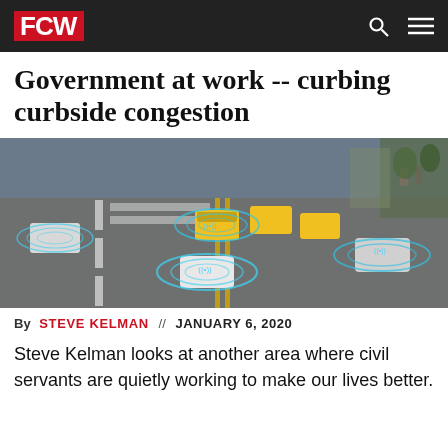FCW
Government at work -- curbing curbside congestion
[Figure (photo): Aerial view of a busy city intersection with multiple vehicles including yellow taxis and white cars, overlaid with blue digital wireless signal rings suggesting connected/autonomous vehicle technology.]
By STEVE KELMAN // JANUARY 6, 2020
Steve Kelman looks at another area where civil servants are quietly working to make our lives better.